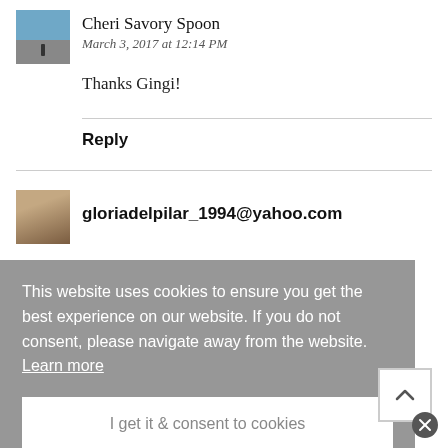Cheri Savory Spoon
March 3, 2017 at 12:14 PM
Thanks Gingi!
Reply
gloriadelpilar_1994@yahoo.com
This website uses cookies to ensure you get the best experience on our website. If you do not consent, please navigate away from the website.  Learn more
I get it & consent to cookies
Thanks Gloria!